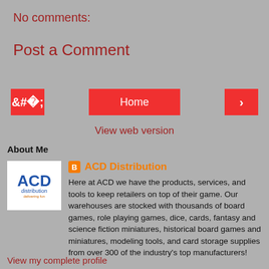No comments:
Post a Comment
< Home >
View web version
About Me
[Figure (logo): ACD Distribution logo — blue ACD text with 'distribution' below and tagline]
ACD Distribution — Here at ACD we have the products, services, and tools to keep retailers on top of their game. Our warehouses are stocked with thousands of board games, role playing games, dice, cards, fantasy and science fiction miniatures, historical board games and miniatures, modeling tools, and card storage supplies from over 300 of the industry's top manufacturers!
View my complete profile